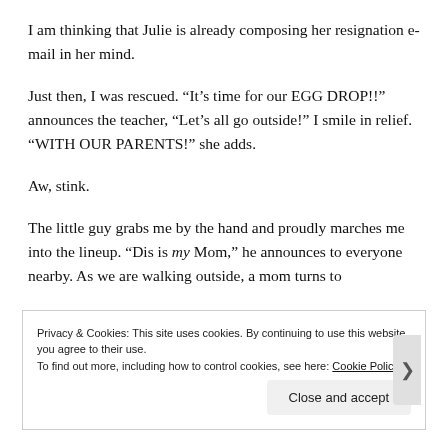I am thinking that Julie is already composing her resignation e-mail in her mind.
Just then, I was rescued. “It’s time for our EGG DROP!!” announces the teacher, “Let’s all go outside!” I smile in relief. “WITH OUR PARENTS!” she adds.
Aw, stink.
The little guy grabs me by the hand and proudly marches me into the lineup. “Dis is my Mom,” he announces to everyone nearby. As we are walking outside, a mom turns to
Privacy & Cookies: This site uses cookies. By continuing to use this website, you agree to their use.
To find out more, including how to control cookies, see here: Cookie Policy